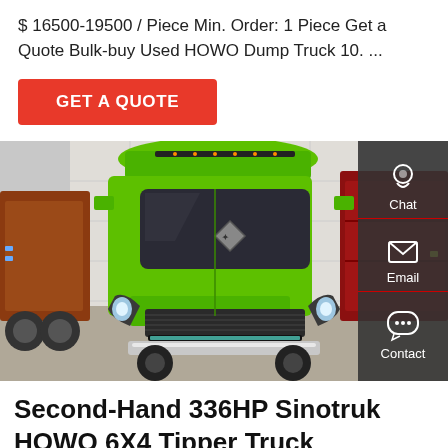$ 16500-19500 / Piece Min. Order: 1 Piece Get a Quote Bulk-buy Used HOWO Dump Truck 10. ...
GET A QUOTE
[Figure (photo): Front view of a bright green Sinotruk HOWO dump truck/tipper truck parked in a showroom, with other trucks visible on the sides. A dark sidebar with Chat, Email, and Contact icons overlays the right side.]
Second-Hand 336HP Sinotruk HOWO 6X4 Tipper Truck